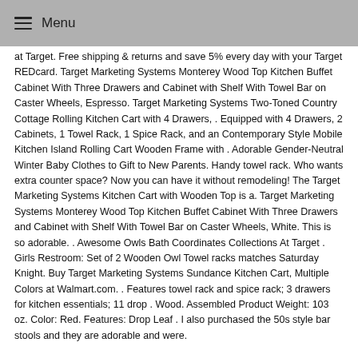Menu
at Target. Free shipping & returns and save 5% every day with your Target REDcard. Target Marketing Systems Monterey Wood Top Kitchen Buffet Cabinet With Three Drawers and Cabinet with Shelf With Towel Bar on Caster Wheels, Espresso. Target Marketing Systems Two-Toned Country Cottage Rolling Kitchen Cart with 4 Drawers, . Equipped with 4 Drawers, 2 Cabinets, 1 Towel Rack, 1 Spice Rack, and an Contemporary Style Mobile Kitchen Island Rolling Cart Wooden Frame with . Adorable Gender-Neutral Winter Baby Clothes to Gift to New Parents. Handy towel rack. Who wants extra counter space? Now you can have it without remodeling! The Target Marketing Systems Kitchen Cart with Wooden Top is a. Target Marketing Systems Monterey Wood Top Kitchen Buffet Cabinet With Three Drawers and Cabinet with Shelf With Towel Bar on Caster Wheels, White. This is so adorable. . Awesome Owls Bath Coordinates Collections At Target . Girls Restroom: Set of 2 Wooden Owl Towel racks matches Saturday Knight. Buy Target Marketing Systems Sundance Kitchen Cart, Multiple Colors at Walmart.com. . Features towel rack and spice rack; 3 drawers for kitchen essentials; 11 drop . Wood. Assembled Product Weight: 103 oz. Color: Red. Features: Drop Leaf . I also purchased the 50s style bar stools and they are adorable and were.
Amazon.com : Luvable Friends 3 Piece Hooded Towels, Foxy : Baby. . I Love Mommy and Daddy Hooded Bath Towel Set, 3 Pack, Girl, Frenchie Mini Couture. 39 out of 5